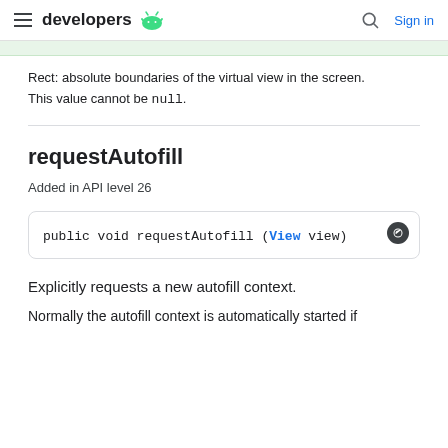developers (android logo) | Search | Sign in
Rect: absolute boundaries of the virtual view in the screen. This value cannot be null.
requestAutofill
Added in API level 26
public void requestAutofill (View view)
Explicitly requests a new autofill context.
Normally the autofill context is automatically started if...